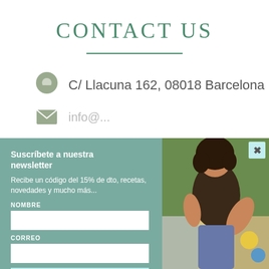CONTACT US
C/ Llacuna 162, 08018 Barcelona
info@...
Suscríbete a nuestra newsletter
Recibe un código del 15% de dto, recetas, novedades y mucho más...
NOMBRE
CORREO
Suscríbeme
[Figure (photo): Young woman with curly hair sitting outdoors on a picnic blanket with food and drinks]